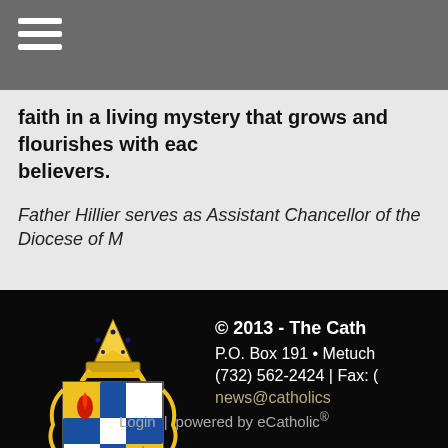[Figure (other): Hamburger menu icon with three white horizontal lines on grey background]
faith in a living mystery that grows and flourishes with each believers.
Father Hillier serves as Assistant Chancellor of the Diocese of M
[Figure (logo): Diocese of Metuchen coat of arms / heraldic shield with bishop's mitre, blue cross, red flame, crown and letter M on gold and white shield]
© 2013 - The Cath
P.O. Box 191 • Metuch
(732) 562-2424 | Fax: (
news@catholics
Login | powered by eCatholic®